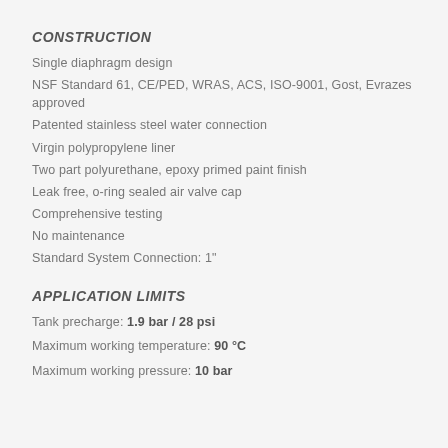CONSTRUCTION
Single diaphragm design
NSF Standard 61, CE/PED, WRAS, ACS, ISO-9001, Gost, Evrazes approved
Patented stainless steel water connection
Virgin polypropylene liner
Two part polyurethane, epoxy primed paint finish
Leak free, o-ring sealed air valve cap
Comprehensive testing
No maintenance
Standard System Connection: 1"
APPLICATION LIMITS
Tank precharge: 1.9 bar / 28 psi
Maximum working temperature: 90 °C
Maximum working pressure: 10 bar